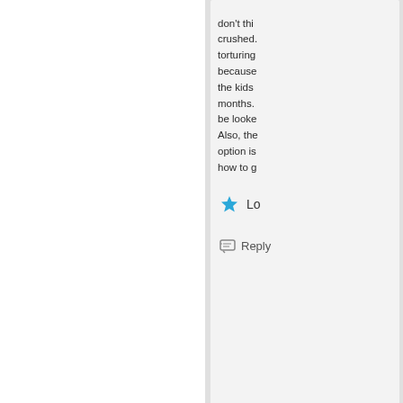don't thi... crushed. torturing because the kids months. be looke Also, the option is how to g...
[Figure (other): Blue star icon followed by 'Lo' text (like/vote button)]
Reply
[Figure (illustration): User avatar - green/yellow patterned square tile]
M
October 12,